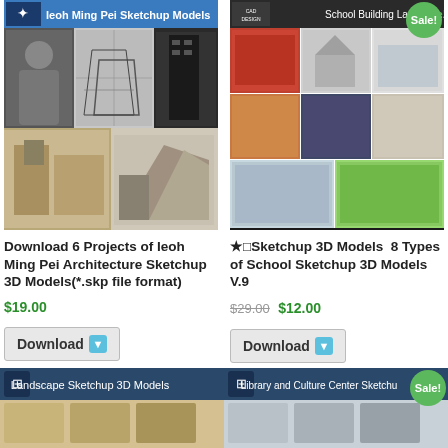[Figure (screenshot): Product image for Ieoh Ming Pei Sketchup 3D Models - collage of building models and architect photo]
[Figure (screenshot): Product image for School Building Landscape Sketchup 3D Models V.9 - collage of school building models with Sale badge]
Download 6 Projects of Ieoh Ming Pei Architecture Sketchup 3D Models(*.skp file format)
★ Sketchup 3D Models 8 Types of School Sketchup 3D Models V.9
$19.00
$29.00 $12.00
Download
Download
[Figure (screenshot): Landscape Sketchup 3D Models product image banner]
[Figure (screenshot): Library and Culture Center Sketchup 3D Models product image banner with Sale badge]